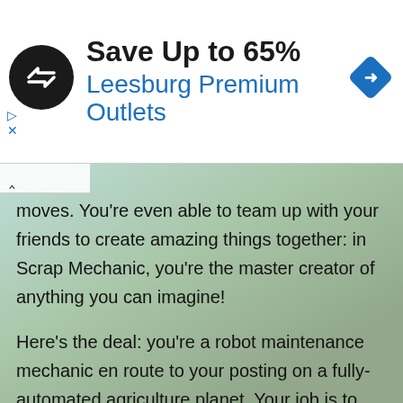[Figure (screenshot): Advertisement banner for Leesburg Premium Outlets showing logo circle with arrows symbol, 'Save Up to 65%' headline, blue subtitle text, and a blue navigation diamond icon on the right. Small blue triangle and X controls below on the left.]
moves. You're even able to team up with your friends to create amazing things together: in Scrap Mechanic, you're the master creator of anything you can imagine!
Here's the deal: you're a robot maintenance mechanic en route to your posting on a fully-automated agriculture planet. Your job is to take care of the worker robots as they work the land, sending the food they produce to the metropolitan planets. Thing is, close to touchdown your spacecraft loses control and crashes, but since you've got luck on your side (erm...), you survive! You're stranded